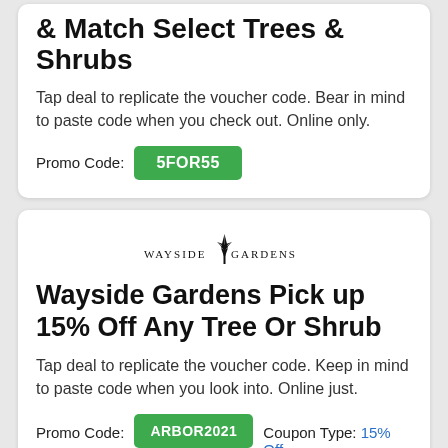& Match Select Trees & Shrubs
Tap deal to replicate the voucher code. Bear in mind to paste code when you check out. Online only.
Promo Code: 5FOR55
[Figure (logo): Wayside Gardens windmill logo with text]
Wayside Gardens Pick up 15% Off Any Tree Or Shrub
Tap deal to replicate the voucher code. Keep in mind to paste code when you look into. Online just.
Promo Code: ARBOR2021   Coupon Type: 15% Off